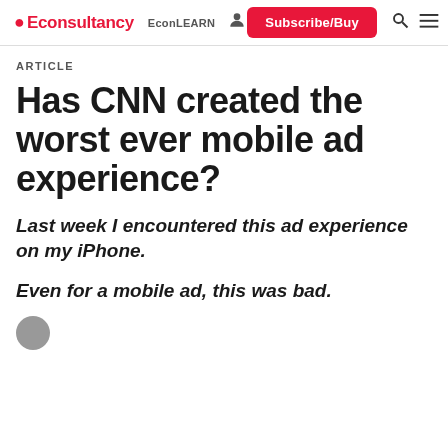Econsultancy EconLEARN Subscribe/Buy
ARTICLE
Has CNN created the worst ever mobile ad experience?
Last week I encountered this ad experience on my iPhone.
Even for a mobile ad, this was bad.